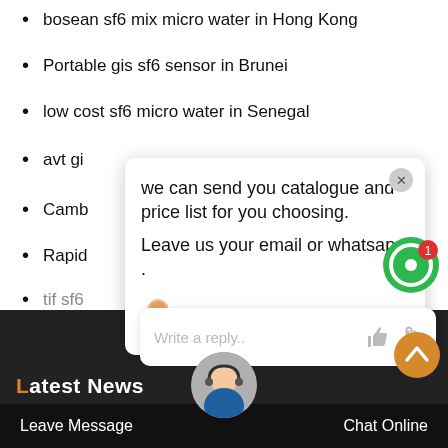bosean sf6 mix micro water in Hong Kong
Portable gis sf6 sensor in Brunei
low cost sf6 micro water in Senegal
avt gi sf6 ... in Ni...
Camb...
Rapid...
tif sf6...
[Figure (screenshot): Chat popup overlay with message: 'we can send you catalogue and price list for you choosing. Leave us your email or whatsapp.' From SF6 Expert, just now. Includes close button, avatar, and Write a reply input box.]
Latest News
ge gis sf6 machinery in France
tif Insulated gas re-use in Leh...
avt sf6 n2 Charging in Panama
Leave Message    Chat Online